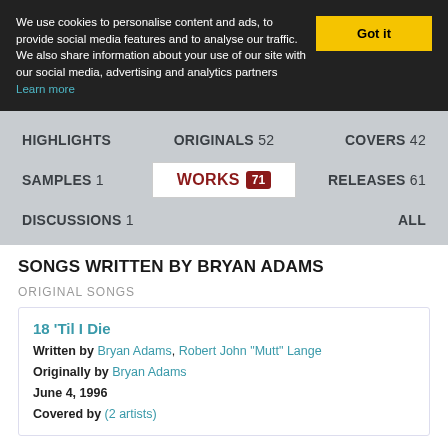We use cookies to personalise content and ads, to provide social media features and to analyse our traffic. We also share information about your use of our site with our social media, advertising and analytics partners Learn more
Got it
HIGHLIGHTS
ORIGINALS 52
COVERS 42
SAMPLES 1
WORKS 71
RELEASES 61
DISCUSSIONS 1
ALL
SONGS WRITTEN BY BRYAN ADAMS
ORIGINAL SONGS
18 'Til I Die
Written by Bryan Adams, Robert John "Mutt" Lange
Originally by Bryan Adams
June 4, 1996
Covered by (2 artists)